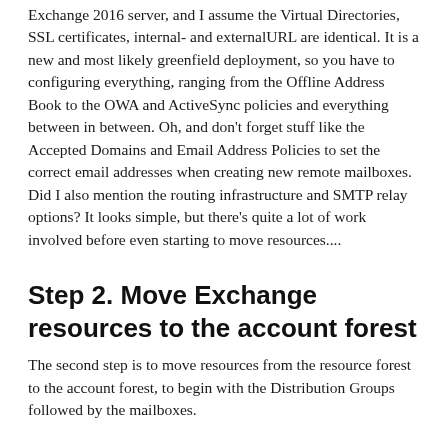Exchange 2016 server, and I assume the Virtual Directories, SSL certificates, internal- and externalURL are identical. It is a new and most likely greenfield deployment, so you have to configuring everything, ranging from the Offline Address Book to the OWA and ActiveSync policies and everything between in between. Oh, and don't forget stuff like the Accepted Domains and Email Address Policies to set the correct email addresses when creating new remote mailboxes. Did I also mention the routing infrastructure and SMTP relay options? It looks simple, but there's quite a lot of work involved before even starting to move resources....
Step 2. Move Exchange resources to the account forest
The second step is to move resources from the resource forest to the account forest, to begin with the Distribution Groups followed by the mailboxes.